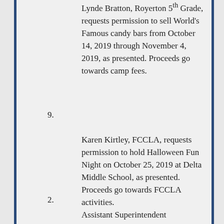Lynde Bratton, Royerton 5th Grade, requests permission to sell World's Famous candy bars from October 14, 2019 through November 4, 2019, as presented. Proceeds go towards camp fees.
9. Karen Kirtley, FCCLA, requests permission to hold Halloween Fun Night on October 25, 2019 at Delta Middle School, as presented. Proceeds go towards FCCLA activities.
2. Assistant Superintendent